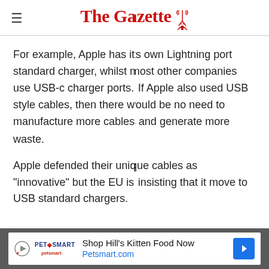The Gazette
For example, Apple has its own Lightning port standard charger, whilst most other companies use USB-c charger ports. If Apple also used USB style cables, then there would be no need to manufacture more cables and generate more waste.
Apple defended their unique cables as "innovative" but the EU is insisting that it move to USB standard chargers.
[Figure (other): Advertisement banner for PetSmart: 'Shop Hill's Kitten Food Now Petsmart.com']